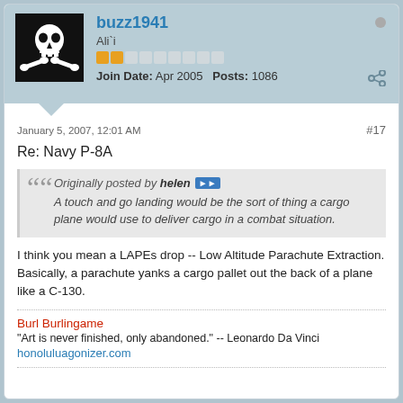[Figure (illustration): User avatar: skull and crossbones on black background]
buzz1941
Ali`i
Join Date: Apr 2005   Posts: 1086
January 5, 2007, 12:01 AM
#17
Re: Navy P-8A
Originally posted by helen
A touch and go landing would be the sort of thing a cargo plane would use to deliver cargo in a combat situation.
I think you mean a LAPEs drop -- Low Altitude Parachute Extraction. Basically, a parachute yanks a cargo pallet out the back of a plane like a C-130.
Burl Burlingame
"Art is never finished, only abandoned." -- Leonardo Da Vinci
honoluluagonizer.com